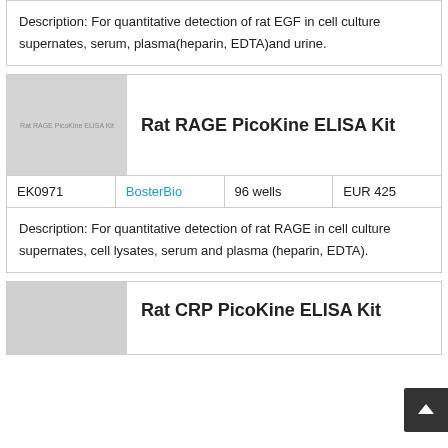Description: For quantitative detection of rat EGF in cell culture supernates, serum, plasma(heparin, EDTA)and urine.
[Figure (photo): Product image placeholder for Rat RAGE PicoKine ELISA Kit with text label]
Rat RAGE PicoKine ELISA Kit
| Catalog | Supplier | Wells | Price |
| --- | --- | --- | --- |
| EK0971 | BosterBio | 96 wells | EUR 425 |
Description: For quantitative detection of rat RAGE in cell culture supernates, cell lysates, serum and plasma (heparin, EDTA).
[Figure (photo): Partial product image placeholder for Rat CRP PicoKine ELISA Kit]
Rat CRP PicoKine ELISA Kit